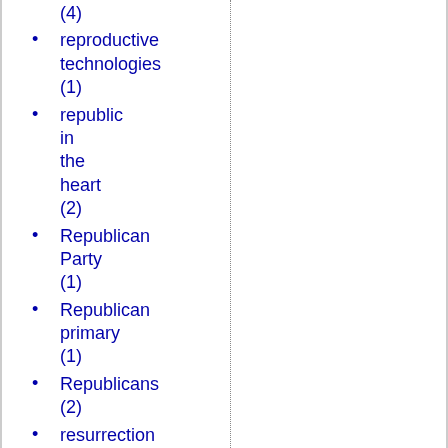(4)
reproductive technologies (1)
republic in the heart (2)
Republican Party (1)
Republican primary (1)
Republicans (2)
resurrection (3)
revolution (4)
Revolutionary Egalitarianism (1)
rhetoric (5)